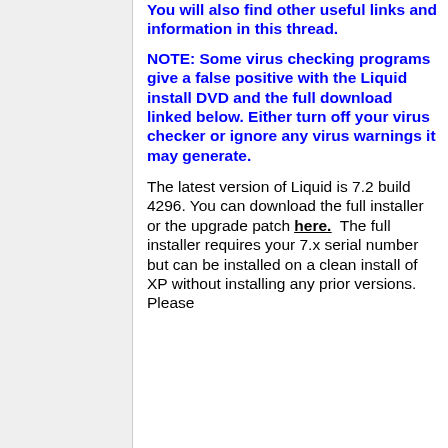You will also find other useful links and information in this thread.
NOTE: Some virus checking programs give a false positive with the Liquid install DVD and the full download linked below. Either turn off your virus checker or ignore any virus warnings it may generate.
The latest version of Liquid is 7.2 build 4296. You can download the full installer or the upgrade patch here. The full installer requires your 7.x serial number but can be installed on a clean install of XP without installing any prior versions. Please